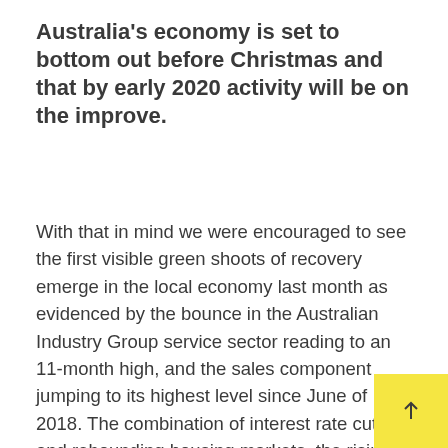Australia's economy is set to bottom out before Christmas and that by early 2020 activity will be on the improve.
With that in mind we were encouraged to see the first visible green shoots of recovery emerge in the local economy last month as evidenced by the bounce in the Australian Industry Group service sector reading to an 11-month high, and the sales component jumping to its highest level since June of 2018. The combination of interest rate cuts and rebounding housing markets, the rising share-market and current and prospective income tax cuts should be making Australian households feel increasingly flush. We think the data is set to turn and we believe good exposures